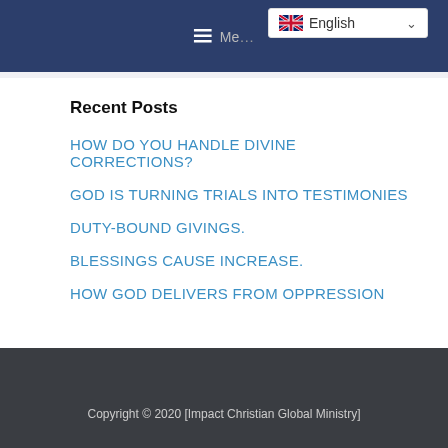Menu  English
Recent Posts
HOW DO YOU HANDLE DIVINE CORRECTIONS?
GOD IS TURNING TRIALS INTO TESTIMONIES
DUTY-BOUND GIVINGS.
BLESSINGS CAUSE INCREASE.
HOW GOD DELIVERS FROM OPPRESSION
Copyright © 2020 [Impact Christian Global Ministry]
Powered by Media Feeders Limited